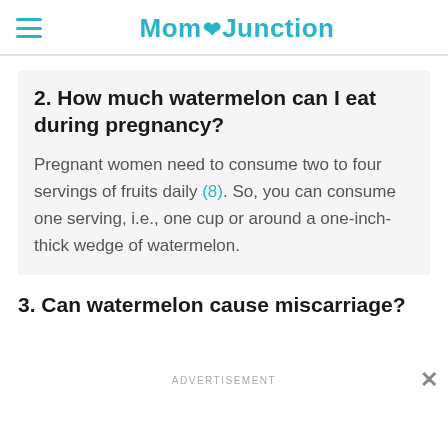MomJunction
2. How much watermelon can I eat during pregnancy?
Pregnant women need to consume two to four servings of fruits daily (8). So, you can consume one serving, i.e., one cup or around a one-inch-thick wedge of watermelon.
3. Can watermelon cause miscarriage?
ADVERTISEMENT